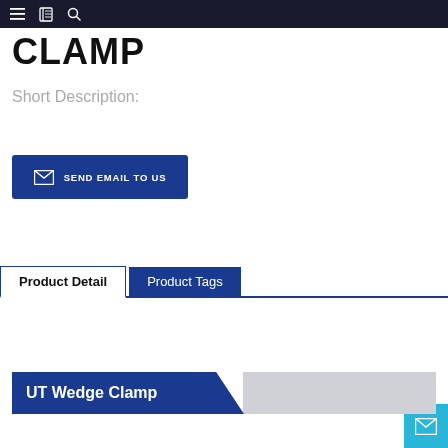Navigation bar with menu, book, and search icons
CLAMP
Short Description:
SEND EMAIL TO US
Product Detail | Product Tags
UT Wedge Clamp